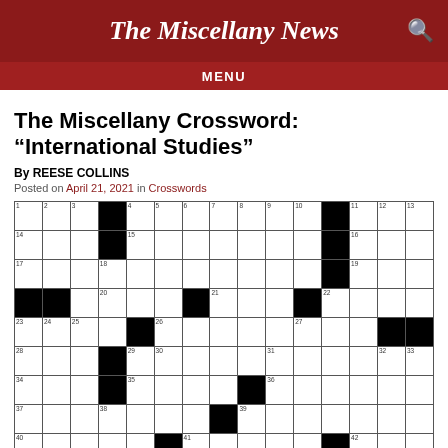The Miscellany News
The Miscellany Crossword: "International Studies"
By REESE COLLINS
Posted on April 21, 2021 in Crosswords
[Figure (other): Crossword puzzle grid with black and white squares, numbered cells for 'International Studies' crossword puzzle]